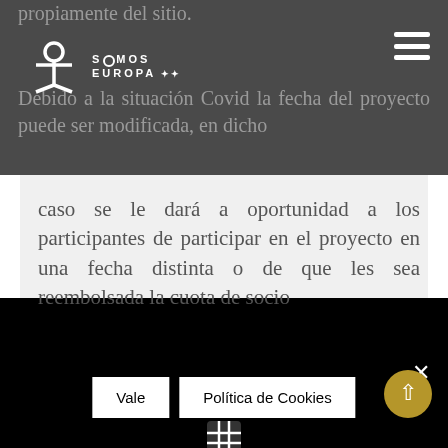Somos Europa
propiamente del sitio.
Debido a la situación Covid la fecha del proyecto puede ser modificada, en dicho caso se le dará a oportunidad a los participantes de participar en el proyecto en una fecha distinta o de que les sea reembolsada la cuota de socio
[Figure (other): Table/grid icon]
Vale | Política de Cookies